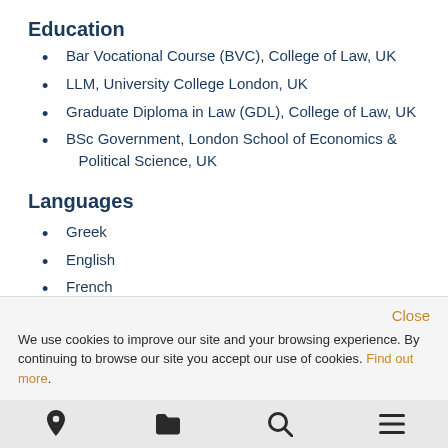Education
Bar Vocational Course (BVC), College of Law, UK
LLM, University College London, UK
Graduate Diploma in Law (GDL), College of Law, UK
BSc Government, London School of Economics & Political Science, UK
Languages
Greek
English
French
German (basic)
Italian (basic)
Close
We use cookies to improve our site and your browsing experience. By continuing to browse our site you accept our use of cookies. Find out more.
Navigation icons: location, folder, search, menu